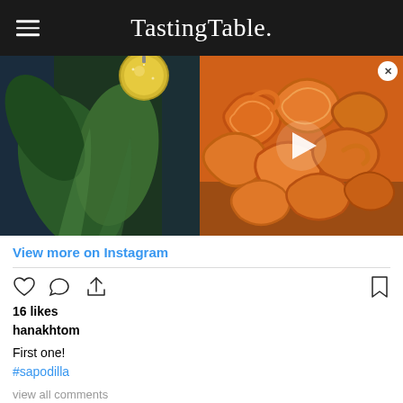Tasting Table.
[Figure (photo): Left half: close-up photo of tropical green leaves with blue background and gold glittery ornament. Right half: close-up photo of orange spiral/ring-shaped fried snacks (jalebi) on a wooden surface, with a white play button triangle in the center.]
View more on Instagram
16 likes
hanakhtom
First one!
#sapodilla
view all comments
Add a comment...